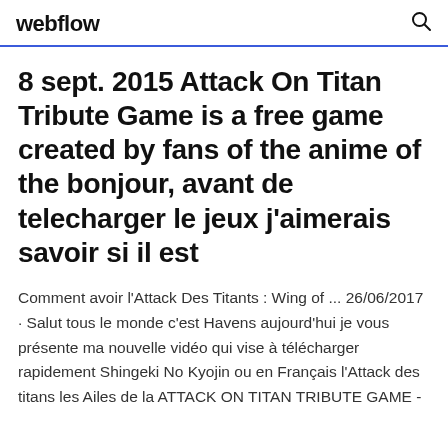webflow
8 sept. 2015 Attack On Titan Tribute Game is a free game created by fans of the anime of the bonjour, avant de telecharger le jeux j'aimerais savoir si il est
Comment avoir l'Attack Des Titants : Wing of ... 26/06/2017 · Salut tous le monde c'est Havens aujourd'hui je vous présente ma nouvelle vidéo qui vise à télécharger rapidement Shingeki No Kyojin ou en Français l'Attack des titans les Ailes de la ATTACK ON TITAN TRIBUTE GAME -